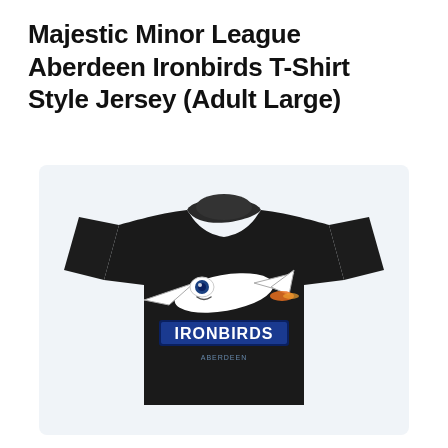Majestic Minor League Aberdeen Ironbirds T-Shirt Style Jersey (Adult Large)
[Figure (photo): Black Majestic Minor League Aberdeen Ironbirds T-Shirt Style Jersey showing the Ironbirds mascot (cartoon jet bird) and IRONBIRDS text on the chest]